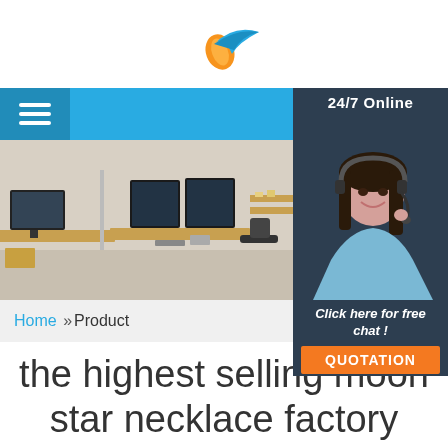[Figure (logo): Blue and orange bird/wing logo in the page header]
[Figure (screenshot): Website navigation bar with hamburger menu on blue background and 24/7 Online customer service widget on right]
[Figure (photo): Office interior banner photo showing desks with monitors, and a customer service agent photo on the right side with 24/7 Online label]
Home »Product
[Figure (infographic): Click here for free chat! and QUOTATION button in dark panel]
the highest selling moon star necklace factory supply united states